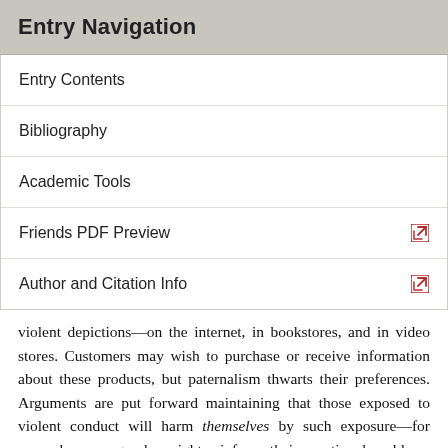Entry Navigation
Entry Contents
Bibliography
Academic Tools
Friends PDF Preview
Author and Citation Info
violent depictions—on the internet, in bookstores, and in video stores. Customers may wish to purchase or receive information about these products, but paternalism thwarts their preferences. Arguments are put forward maintaining that those exposed to violent conduct will harm themselves by such exposure—for example, pornography might reinforce their emotional problems or render them incapable of love and other distinctively human relationships.
A classic problem of paternalism in business ethics derives from the principle of caveat emptor—Latin for